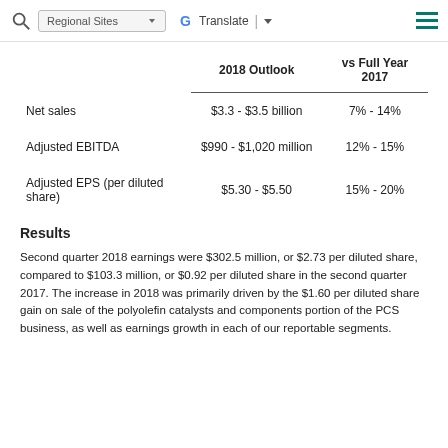Regional Sites | Translate | Menu
|  | 2018 Outlook | vs Full Year 2017 |
| --- | --- | --- |
| Net sales | $3.3 - $3.5 billion | 7% - 14% |
| Adjusted EBITDA | $990 - $1,020 million | 12% - 15% |
| Adjusted EPS (per diluted share) | $5.30 - $5.50 | 15% - 20% |
Results
Second quarter 2018 earnings were $302.5 million, or $2.73 per diluted share, compared to $103.3 million, or $0.92 per diluted share in the second quarter 2017. The increase in 2018 was primarily driven by the $1.60 per diluted share gain on sale of the polyolefin catalysts and components portion of the PCS business, as well as earnings growth in each of our reportable segments.